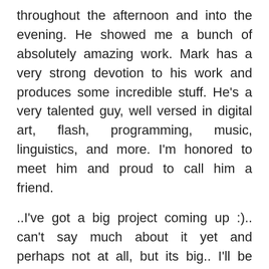throughout the afternoon and into the evening. He showed me a bunch of absolutely amazing work. Mark has a very strong devotion to his work and produces some incredible stuff. He's a very talented guy, well versed in digital art, flash, programming, music, linguistics, and more. I'm honored to meet him and proud to call him a friend.
..I've got a big project coming up :).. can't say much about it yet and perhaps not at all, but its big.. I'll be working out the details within the next few weeks and getting a good idea as to whether or not I'm going to go through with it.. Its extremely exciting and I'm not sure if I can pull it off.. we'll see ;).